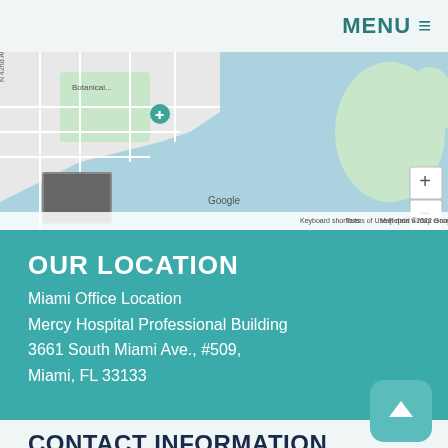MENU
[Figure (map): Google Maps view showing Miami area near Botanical Gardens and Biscayne Bay, with zoom controls on the right side]
OUR LOCATION
Miami Office Location
Mercy Hospital Professional Building
3661 South Miami Ave., #509,
Miami, FL 33133
CONTACT INFORMATION
Phone
(305) 858-8222
Email